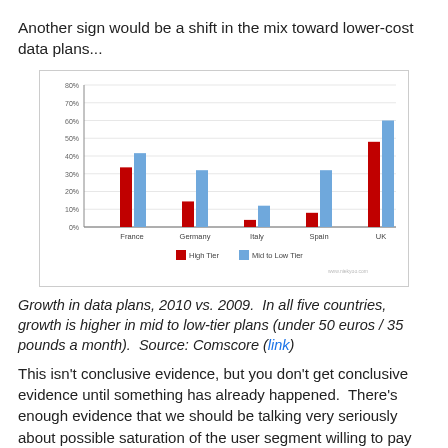Another sign would be a shift in the mix toward lower-cost data plans...
[Figure (grouped-bar-chart): ]
Growth in data plans, 2010 vs. 2009.  In all five countries, growth is higher in mid to low-tier plans (under 50 euros / 35 pounds a month).  Source: Comscore (link)
This isn't conclusive evidence, but you don't get conclusive evidence until something has already happened.  There's enough evidence that we should be talking very seriously about possible saturation of the user segment willing to pay for mobile data.